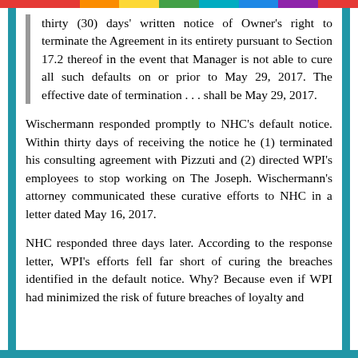thirty (30) days' written notice of Owner's right to terminate the Agreement in its entirety pursuant to Section 17.2 thereof in the event that Manager is not able to cure all such defaults on or prior to May 29, 2017. The effective date of termination . . . shall be May 29, 2017.
Wischermann responded promptly to NHC's default notice. Within thirty days of receiving the notice he (1) terminated his consulting agreement with Pizzuti and (2) directed WPI's employees to stop working on The Joseph. Wischermann's attorney communicated these curative efforts to NHC in a letter dated May 16, 2017.
NHC responded three days later. According to the response letter, WPI's efforts fell far short of curing the breaches identified in the default notice. Why? Because even if WPI had minimized the risk of future breaches of loyalty and